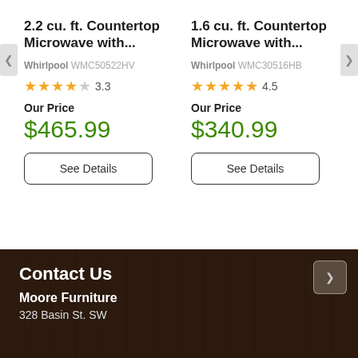2.2 cu. ft. Countertop Microwave with...
Whirlpool WMC50522HV
3.3
Our Price
$465.99
See Details
1.6 cu. ft. Countertop Microwave with...
Whirlpool WMC30516HB
4.5
Our Price
$340.99
See Details
Contact Us
Moore Furniture
328 Basin St. SW